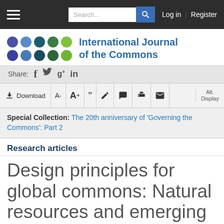International Journal of the Commons — Navigation bar with Search, Log in, Register
[Figure (logo): International Journal of the Commons logo: 10 colored dots in 2 rows of 5 (blue, teal, dark green, green, lime shades) beside the journal name in blue bold text]
Share: f (Facebook), Twitter bird, g+, in (LinkedIn)
Download  A-  A+  quote  edit  comment  print  email  Alt. Display toolbar
Special Collection: The 20th anniversary of 'Governing the Commons': Part 2
Research articles
Design principles for global commons: Natural resources and emerging technologies